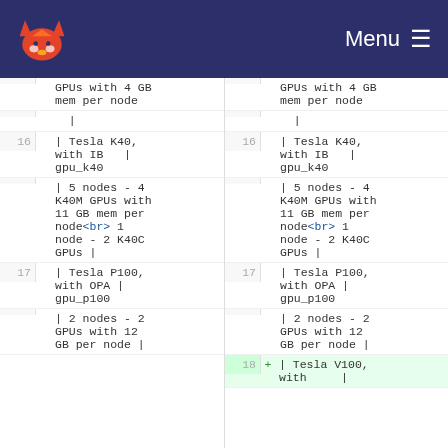GitLab navigation bar with logo and Menu
| line_num_left | content_left | line_num_right | marker | content_right |
| --- | --- | --- | --- | --- |
|  | GPUs with 4 GB mem per node |  |  | GPUs with 4 GB mem per node |
|  | | |  |  | | |
| 16 | | Tesla K40, with IB   | gpu_k40 | 16 |  | | Tesla K40, with IB   | gpu_k40 |
|  | | 5 nodes - 4 K40M GPUs with 11 GB mem per node<br> 1 node - 2 K40C GPUs | |  |  | | 5 nodes - 4 K40M GPUs with 11 GB mem per node<br> 1 node - 2 K40C GPUs | |
| 17 | | Tesla P100, with OPA | gpu_p100 | 17 |  | | Tesla P100, with OPA | gpu_p100 |
|  | | 2 nodes - 2 GPUs with 12 GB per node | |  |  | | 2 nodes - 2 GPUs with 12 GB per node | |
|  |  | 18 | + | | Tesla V100, with   | |